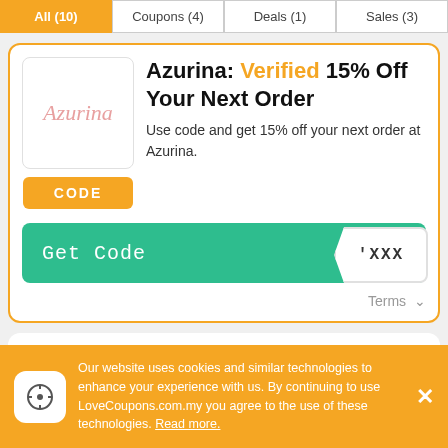All (10) | Coupons (4) | Deals (1) | Sales (3)
Azurina: Verified 15% Off Your Next Order
Use code and get 15% off your next order at Azurina.
Get Code 'XXX
Terms
Azurina: Verified 20% Off
Our website uses cookies and similar technologies to enhance your experience with us. By continuing to use LoveCoupons.com.my you agree to the use of these technologies. Read more.